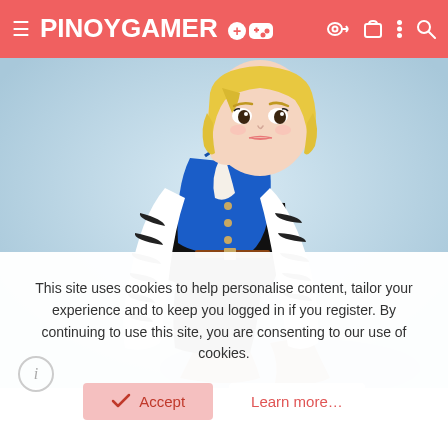PINOYGAMER
[Figure (photo): Young Asian woman with short blonde bob wearing a blue denim vest over a black and white striped long-sleeve shirt with black leggings and brown boots, posed against a light blue background — cosplay style resembling Android 18 from Dragon Ball Z]
This site uses cookies to help personalise content, tailor your experience and to keep you logged in if you register. By continuing to use this site, you are consenting to our use of cookies.
Accept
Learn more…